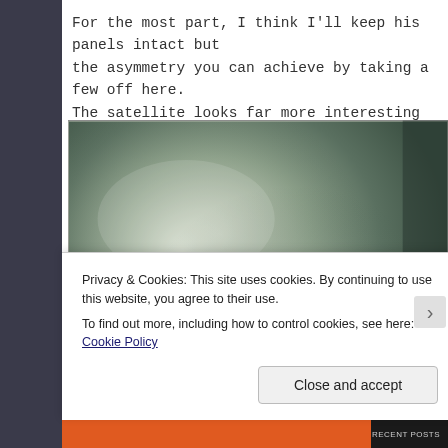For the most part, I think I'll keep his panels intact but the asymmetry you can achieve by taking a few off here. The satellite looks far more interesting without it's cov
[Figure (photo): A blurred/out-of-focus photograph showing a greenish-grey metallic surface, likely the surface of a model or satellite component. The image is partially obscured by a cookie consent overlay.]
Privacy & Cookies: This site uses cookies. By continuing to use this website, you agree to their use.
To find out more, including how to control cookies, see here: Cookie Policy
Close and accept